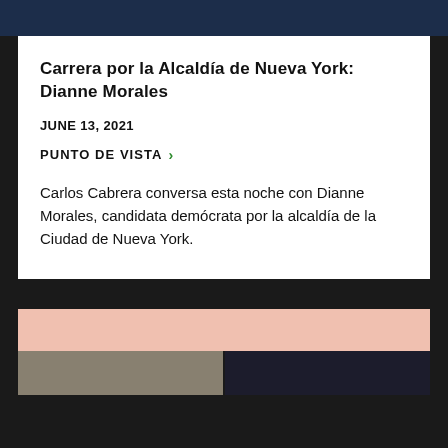Carrera por la Alcaldía de Nueva York: Dianne Morales
JUNE 13, 2021
PUNTO DE VISTA >
Carlos Cabrera conversa esta noche con Dianne Morales, candidata demócrata por la alcaldía de la Ciudad de Nueva York.
[Figure (photo): Photo card with pink background and two portrait photos side by side at the bottom, one with lighter tones on the left and one with darker tones on the right.]